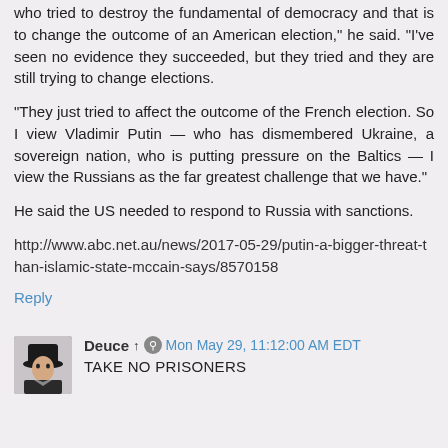who tried to destroy the fundamental of democracy and that is to change the outcome of an American election," he said. "I've seen no evidence they succeeded, but they tried and they are still trying to change elections.

"They just tried to affect the outcome of the French election. So I view Vladimir Putin — who has dismembered Ukraine, a sovereign nation, who is putting pressure on the Baltics — I view the Russians as the far greatest challenge that we have."

He said the US needed to respond to Russia with sanctions.

http://www.abc.net.au/news/2017-05-29/putin-a-bigger-threat-than-islamic-state-mccain-says/8570158
Reply
Deuce ↑ ⊘ Mon May 29, 11:12:00 AM EDT
TAKE NO PRISONERS